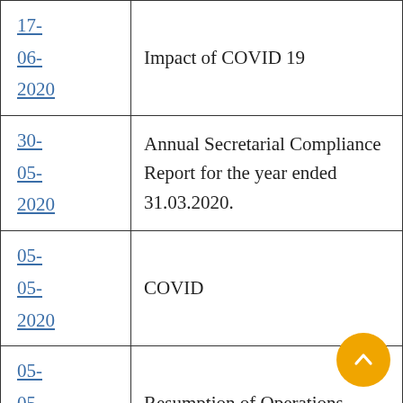| Date | Description |
| --- | --- |
| 17-06-2020 | Impact of COVID 19 |
| 30-05-2020 | Annual Secretarial Compliance Report for the year ended 31.03.2020. |
| 05-05-2020 | COVID |
| 05-05-2020 | Resumption of Operations |
| 30-03-2020 | Shutdown of Factories |